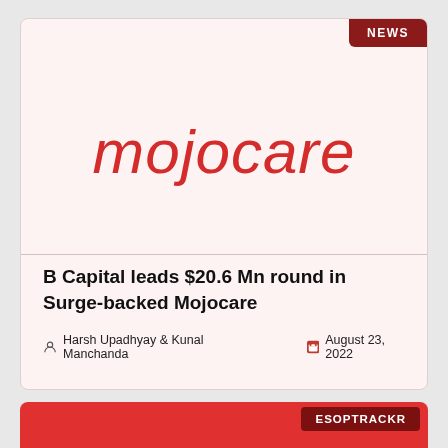[Figure (logo): Mojocare logo in red italic text on pink/white background]
NEWS
B Capital leads $20.6 Mn round in Surge-backed Mojocare
Harsh Upadhyay & Kunal Manchanda    August 23, 2022
[Figure (logo): ESOPTRACKR logo/badge in dark red on red background]